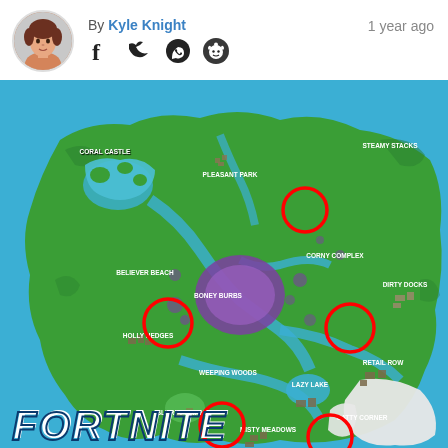[Figure (other): Author avatar photo - young man with brown hair]
By Kyle Knight
1 year ago
[Figure (other): Social media share icons: Facebook, Twitter, WhatsApp, Reddit]
[Figure (map): Fortnite game map showing Chapter 2 Season 8 island with named locations including Coral Castle, Pleasant Park, Steamy Stacks, Believer Beach, Corny Complex, Boney Burbs, Dirty Docks, Holly Hedges, Weeping Woods, Retail Row, Lazy Lake, Slurpy Swamp, Catty Corner, Misty Meadows. Five red circles mark specific locations on the map. FORTNITE logo at bottom left.]